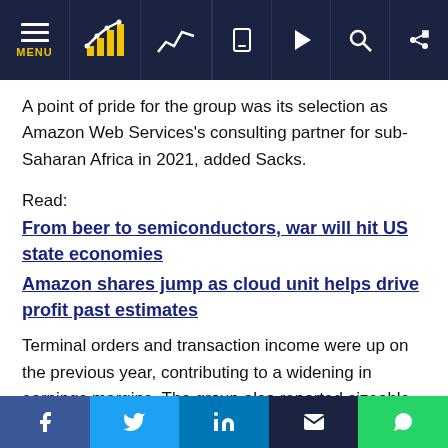Navigation bar with MENU, chart icons, and utility icons
A point of pride for the group was its selection as Amazon Web Services's consulting partner for sub-Saharan Africa in 2021, added Sacks.
Read:
From beer to semiconductors, war will hit US state economies
Amazon shares jump as cloud unit helps drive profit past estimates
Terminal orders and transaction income were up on the previous year, contributing to a widening in earnings margins. The group also reported sizeable increases in cloud-based and digital consulting revenue and third-party software and hardware sales.
Social share buttons: Facebook, Twitter, LinkedIn, Email, WhatsApp